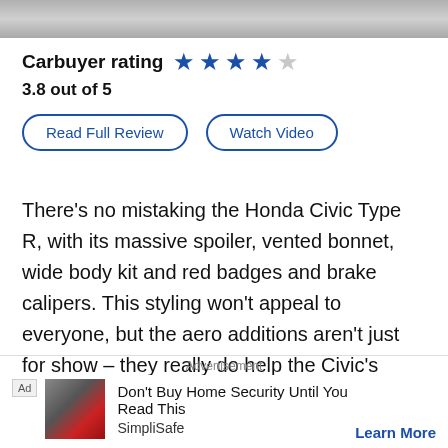[Figure (photo): Gray photo strip at top of page, partial image of a car or sky]
Carbuyer rating  ★★★★☆  3.8 out of 5
Read Full Review   Watch Video
There's no mistaking the Honda Civic Type R, with its massive spoiler, vented bonnet, wide body kit and red badges and brake calipers. This styling won't appeal to everyone, but the aero additions aren't just for show – they really do help the Civic's performance and impressive cornering ability. The most powerful and
Advertisement
Ad  Don't Buy Home Security Until You Read This  SimpliSafe  Learn More